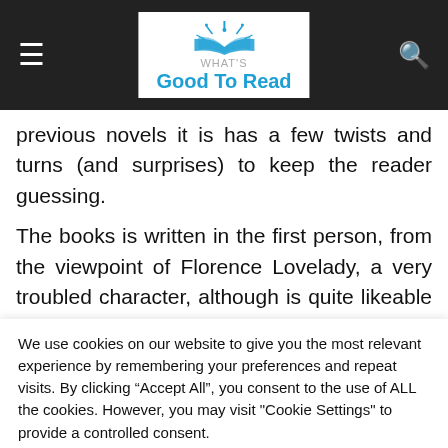What's Good To Read
previous novels it is has a few twists and turns (and surprises) to keep the reader guessing.
The books is written in the first person, from the viewpoint of Florence Lovelady, a very troubled character, although is quite likeable with her intelligence and quest to seek the
We use cookies on our website to give you the most relevant experience by remembering your preferences and repeat visits. By clicking “Accept All”, you consent to the use of ALL the cookies. However, you may visit "Cookie Settings" to provide a controlled consent.
Cookie Settings | Accept All | Read More | Reject All